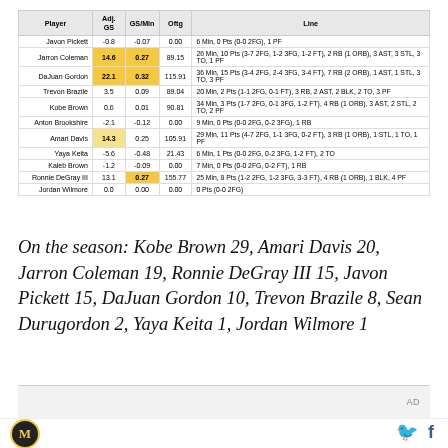| Player | Adj. GS | GS/Min | Oftg | Line |
| --- | --- | --- | --- | --- |
| Javon Pickett | -0.8 | -0.07 | 0.00 | 6 Min, 0 Pts (0-0 2FG), 1 PF |
| Jarron Coleman | 14.6 | 0.27 | 89.15 | 26 Min, 10 Pts (3-7 2FG, 1-2 3FG, 1-2 FT), 2 RB (1 ORB), 3 AST, 3 STL, 3 TO, 1 PF |
| DaJuan Gordon | 22.1 | 0.32 | 115.91 | 36 Min, 15 Pts (3-4 2FG, 2-4 3FG, 3-4 FT), 7 RB (2 ORB), 1 AST, 1 STL, 3 TO, 3 PF |
| Trevon Brazile | 3.5 | 0.09 | 89.04 | 20 Min, 2 Pts (1-1 2FG, 0-1 FT), 3 RB, 2 AST, 2 BLK, 2 TO, 3 PF |
| Kobe Brown | 0.6 | 0.01 | 90.81 | 34 Min, 3 Pts (1-7 2FG, 0-1 3FG, 1-2 FT), 4 RB (1 ORB), 3 AST, 2 STL, 2 TO, 2 PF |
| Anton Brookshire | -2.1 | -0.12 | 0.00 | 9 Min, 0 Pts (0-0 2FG, 0-2 3FG), 1 RB |
| Amari Davis | 14.3 | 0.25 | 105.91 | 29 Min, 11 Pts (4-7 2FG, 1-1 3FG, 0-2 FT), 3 RB (1 ORB), 1 STL, 1 TO, 1 PF |
| Yaya Keita | -5.6 | -0.48 | 21.43 | 6 Min, 1 Pts (0-0 2FG, 0-2 3FG, 1-2 FT), 2 TO |
| Kaleb Brown | -1.2 | -0.09 | 0.00 | 7 Min, 0 Pts (0-0 2FG, 0-2 FT), 1 RB |
| Ronnie DeGray III | 13.1 | 0.27 | 155.77 | 25 Min, 8 Pts (1-2 2FG, 1-2 3FG, 3-3 FT), 4 RB (1 ORB), 1 BLK, 4 PF |
| Jordan Wilmore | 0.0 | 0.00 | 0.00 | 0 Pts (0-0 2FG) |
On the season: Kobe Brown 29, Amari Davis 20, Jarron Coleman 19, Ronnie DeGray III 15, Javon Pickett 15, DaJuan Gordon 10, Trevon Brazile 8, Sean Durugordon 2, Yaya Keita 1, Jordan Wilmore 1